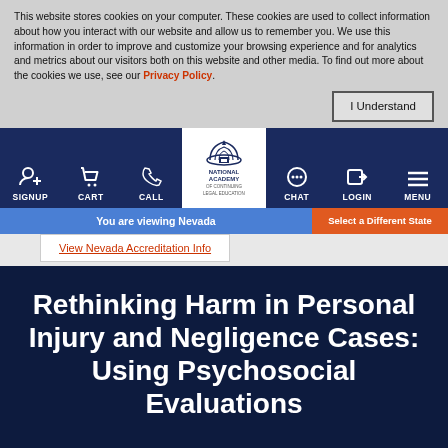This website stores cookies on your computer. These cookies are used to collect information about how you interact with our website and allow us to remember you. We use this information in order to improve and customize your browsing experience and for analytics and metrics about our visitors both on this website and other media. To find out more about the cookies we use, see our Privacy Policy.
[Figure (screenshot): Navigation bar with icons for SIGNUP, CART, CALL, National Academy of Continuing Legal Education logo, CHAT, LOGIN, MENU on dark blue background]
You are viewing Nevada
Select a Different State
View Nevada Accreditation Info
Rethinking Harm in Personal Injury and Negligence Cases: Using Psychosocial Evaluations